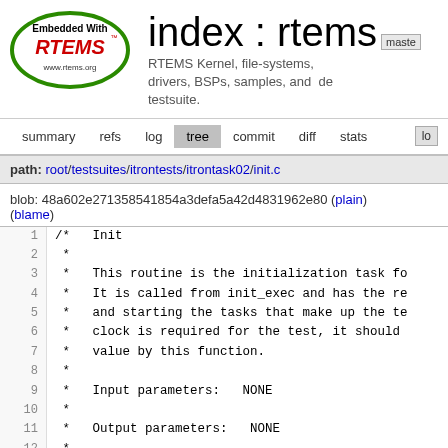[Figure (logo): RTEMS logo — green oval with 'Embedded With RTEMS' text and www.rtems.org URL]
index : rtems master
RTEMS Kernel, file-systems, drivers, BSPs, samples, and testsuite.
summary  refs  log  tree  commit  diff  stats  lo
path: root/testsuites/itrontests/itrontask02/init.c
blob: 48a602e271358541854a3defa5a42d4831962e80 (plain) (blame)
1  /*  Init
2   *
3   *  This routine is the initialization task fo
4   *  It is called from init_exec and has the re
5   *  and starting the tasks that make up the te
6   *  clock is required for the test, it should
7   *  value by this function.
8   *
9   *  Input parameters:  NONE
10  *
11  *  Output parameters:  NONE
12  *
13  *  The license and distribution terms for thi